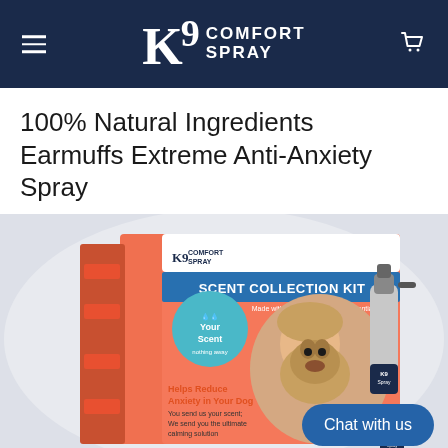K9 Comfort Spray
100% Natural Ingredients Earmuffs Extreme Anti-Anxiety Spray
[Figure (photo): Product photo of K9 Comfort Spray Scent Collection Kit box with a spray bottle, showing a woman hugging a French Bulldog puppy. The box features text: 'SCENT COLLECTION KIT', 'Made with Therapeutic Grade Essential Oils', 'Your Scent', 'Helps Reduce Anxiety in Your Dog', 'You send us your scent; We send you the ultimate calming solution'. A 'Chat with us' button is overlaid on the bottom right.]
Chat with us